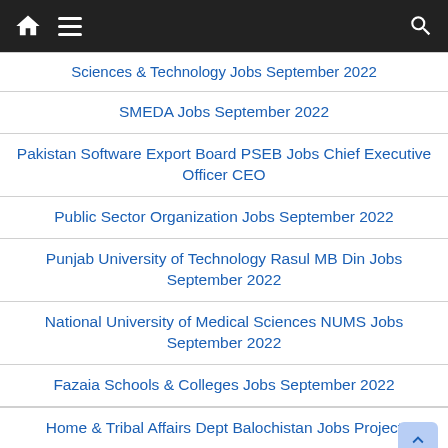Navigation bar with home, menu, and search icons
Sciences & Technology Jobs September 2022
SMEDA Jobs September 2022
Pakistan Software Export Board PSEB Jobs Chief Executive Officer CEO
Public Sector Organization Jobs September 2022
Punjab University of Technology Rasul MB Din Jobs September 2022
National University of Medical Sciences NUMS Jobs September 2022
Fazaia Schools & Colleges Jobs September 2022
Home & Tribal Affairs Dept Balochistan Jobs Project